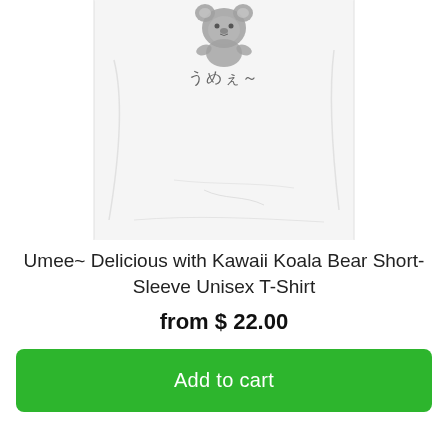[Figure (photo): Product photo of a white t-shirt with a kawaii koala bear graphic and Japanese text 'うめぇ～' printed on the front, shown folded/laid flat]
Umee~ Delicious with Kawaii Koala Bear Short-Sleeve Unisex T-Shirt
from $ 22.00
Add to cart